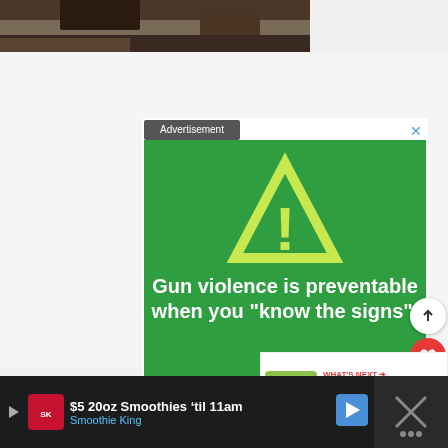[Figure (photo): Top portion of a photo, likely a close-up of an animal or object with dark tones]
[Figure (infographic): Sandy Hook Promise advertisement. Green background with yellow warning triangle containing exclamation mark. Text: 'Gun violence is preventable when you know the signs'. Sandy Hook Promise logo and www.sandyhookpromise.org/warningsigns URL. 'Advertisement' label in top left, X close button in top right.]
[Figure (infographic): WHAT'S NEXT arrow. Easter Egg Planters - DI... with thumbnail image of Easter eggs in a planter]
$5 20oz Smoothies 'til 11am
Smoothing King
[Figure (logo): Smoothie King logo]